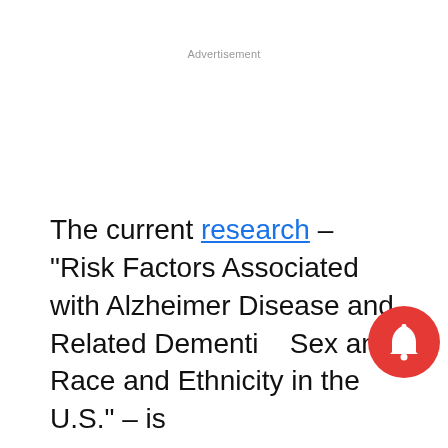Advertisement
The current research – "Risk Factors Associated with Alzheimer Disease and Related Dementia: Sex and Race and Ethnicity in the U.S." – is